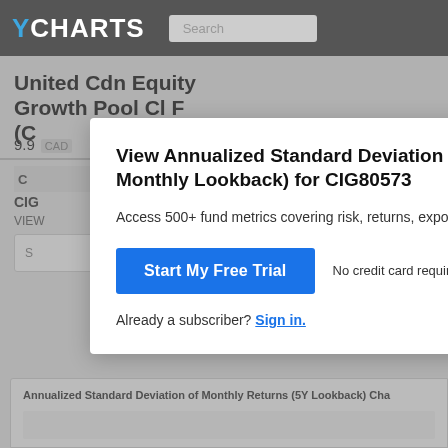YCHARTS
United Cdn Equity Growth Pool Cl F (C...
9.9...  CAD
CIG80573
VIEW
S
View Annualized Standard Deviation of Monthly Lookback) for CIG80573
Access 500+ fund metrics covering risk, returns, exposu...
Start My Free Trial
No credit card required.
Already a subscriber? Sign in.
Annualized Standard Deviation of Monthly Returns (5Y Lookback) Cha...